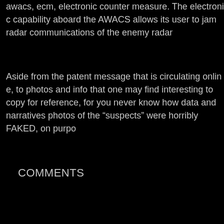awacs, ecm, electronic counter measure. The electronic capability aboard the AWACS allows its user to jam radar communications of the enemy radar
Aside from the patent message that is circulating online, to photos and info that one may find interesting to copy for reference, for you never know how data and narratives change. photos of the "suspects" were horribly FAKED, on purpose
COMMENTS